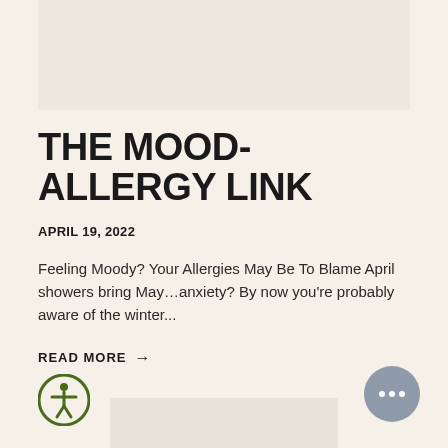[Figure (photo): Beige/tan rectangular image placeholder at the top of the page]
THE MOOD-ALLERGY LINK
APRIL 19, 2022
Feeling Moody? Your Allergies May Be To Blame April showers bring May…anxiety? By now you're probably aware of the winter...
READ MORE →